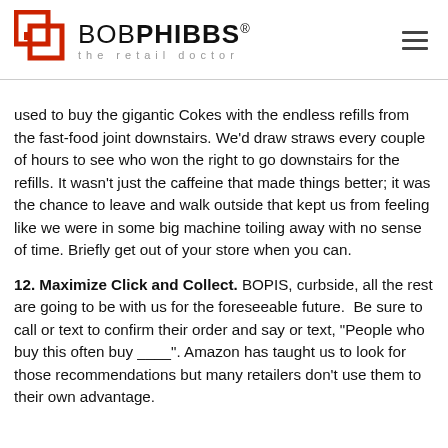BOB PHIBBS® the retail doctor
used to buy the gigantic Cokes with the endless refills from the fast-food joint downstairs. We'd draw straws every couple of hours to see who won the right to go downstairs for the refills. It wasn't just the caffeine that made things better; it was the chance to leave and walk outside that kept us from feeling like we were in some big machine toiling away with no sense of time. Briefly get out of your store when you can.
12. Maximize Click and Collect. BOPIS, curbside, all the rest are going to be with us for the foreseeable future.  Be sure to call or text to confirm their order and say or text, "People who buy this often buy ____". Amazon has taught us to look for those recommendations but many retailers don't use them to their own advantage.